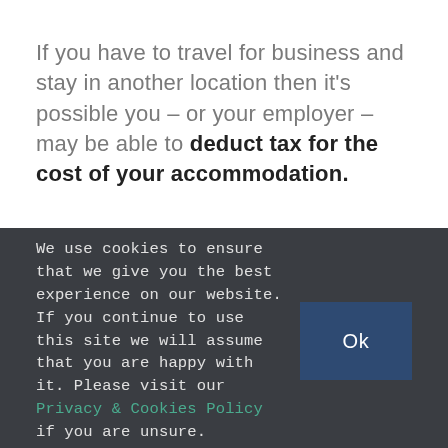If you have to travel for business and stay in another location then it's possible you – or your employer – may be able to deduct tax for the cost of your accommodation.
We use cookies to ensure that we give you the best experience on our website. If you continue to use this site we will assume that you are happy with it. Please visit our Privacy & Cookies Policy if you are unsure.